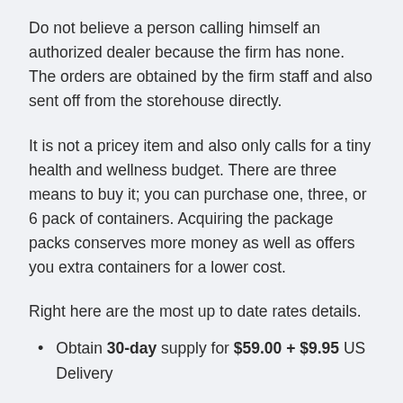Do not believe a person calling himself an authorized dealer because the firm has none. The orders are obtained by the firm staff and also sent off from the storehouse directly.
It is not a pricey item and also only calls for a tiny health and wellness budget. There are three means to buy it; you can purchase one, three, or 6 pack of containers. Acquiring the package packs conserves more money as well as offers you extra containers for a lower cost.
Right here are the most up to date rates details.
Obtain 30-day supply for $59.00 + $9.95 US Delivery